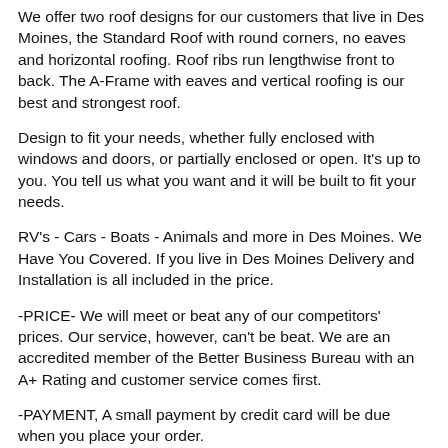We offer two roof designs for our customers that live in Des Moines, the Standard Roof with round corners, no eaves and horizontal roofing. Roof ribs run lengthwise front to back. The A-Frame with eaves and vertical roofing is our best and strongest roof.
Design to fit your needs, whether fully enclosed with windows and doors, or partially enclosed or open. It's up to you. You tell us what you want and it will be built to fit your needs.
RV's - Cars - Boats - Animals and more in Des Moines. We Have You Covered. If you live in Des Moines Delivery and Installation is all included in the price.
-PRICE- We will meet or beat any of our competitors' prices. Our service, however, can't be beat. We are an accredited member of the Better Business Bureau with an A+ Rating and customer service comes first.
-PAYMENT, A small payment by credit card will be due when you place your order.
Our website is for browsing at our pictures to give you more ideas. We do business the old fashioned way, we like to talk with you in person or on the phone at which time we will